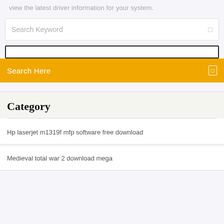view the latest driver information for your system.
Search Keyword
Search Here
Category
Hp laserjet m1319f mfp software free download
Medieval total war 2 download mega